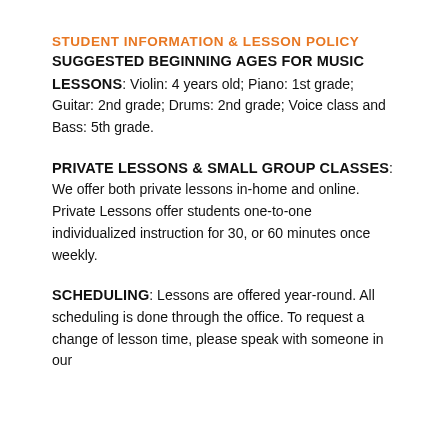STUDENT INFORMATION & LESSON POLICY
SUGGESTED BEGINNING AGES FOR MUSIC LESSONS: Violin: 4 years old; Piano: 1st grade; Guitar: 2nd grade; Drums: 2nd grade; Voice class and Bass: 5th grade.
PRIVATE LESSONS & SMALL GROUP CLASSES: We offer both private lessons in-home and online. Private Lessons offer students one-to-one individualized instruction for 30, or 60 minutes once weekly.
SCHEDULING: Lessons are offered year-round. All scheduling is done through the office. To request a change of lesson time, please speak with someone in our